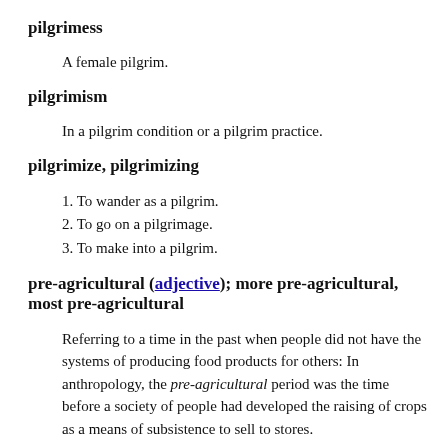pilgrimess
A female pilgrim.
pilgrimism
In a pilgrim condition or a pilgrim practice.
pilgrimize, pilgrimizing
1. To wander as a pilgrim.
2. To go on a pilgrimage.
3. To make into a pilgrim.
pre-agricultural (adjective); more pre-agricultural, most pre-agricultural
Referring to a time in the past when people did not have the systems of producing food products for others: In anthropology, the pre-agricultural period was the time before a society of people had developed the raising of crops as a means of subsistence to sell to stores.